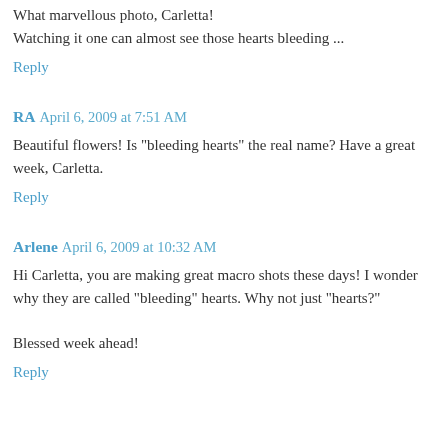What marvellous photo, Carletta!
Watching it one can almost see those hearts bleeding ...
Reply
RA  April 6, 2009 at 7:51 AM
Beautiful flowers! Is "bleeding hearts" the real name? Have a great week, Carletta.
Reply
Arlene  April 6, 2009 at 10:32 AM
Hi Carletta, you are making great macro shots these days! I wonder why they are called "bleeding" hearts. Why not just "hearts?"

Blessed week ahead!
Reply